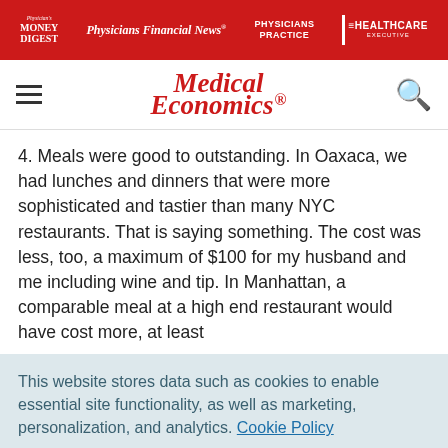Physician's Money Digest | Physicians Financial News | Physicians Practice | Healthcare Executive
[Figure (logo): Medical Economics logo with red italic serif text]
4. Meals were good to outstanding. In Oaxaca, we had lunches and dinners that were more sophisticated and tastier than many NYC restaurants. That is saying something. The cost was less, too, a maximum of $100 for my husband and me including wine and tip. In Manhattan, a comparable meal at a high end restaurant would have cost more, at least
This website stores data such as cookies to enable essential site functionality, as well as marketing, personalization, and analytics. Cookie Policy
Accept
Deny